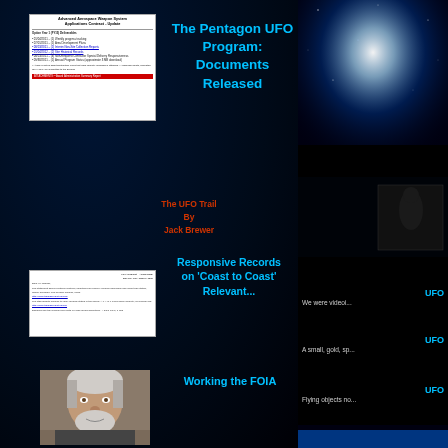[Figure (screenshot): Thumbnail of a document titled 'Advanced Aerospace Weapon System Applications Contract - Update' showing Option Year 1 FOIA Deliverables]
The Pentagon UFO Program: Documents Released
The UFO Trail
By
Jack Brewer
[Figure (screenshot): Thumbnail of a letter/response document with blue hyperlink text]
Responsive Records on 'Coast to Coast' Relevant...
[Figure (photo): Portrait photo of a man with white/grey hair and beard, looking at camera]
Working the FOIA
[Figure (photo): Space/UFO background image on right side - dark blue glowing light against black sky]
UFO
We were videoi...
UFO
A small, gold, sp...
UFO
Flying objects no...